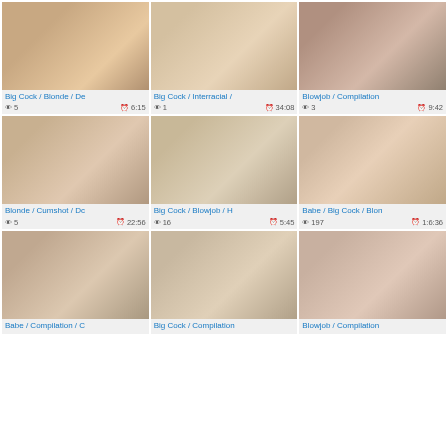[Figure (photo): Thumbnail image 1 - adult content]
Big Cock / Blonde / De
👁 5   ⏰ 6:15
[Figure (photo): Thumbnail image 2 - adult content]
Big Cock / Interracial /
👁 1   ⏰ 34:08
[Figure (photo): Thumbnail image 3 - adult content]
Blowjob / Compilation
👁 3   ⏰ 9:42
[Figure (photo): Thumbnail image 4 - adult content]
Blonde / Cumshot / Dc
👁 5   ⏰ 22:56
[Figure (photo): Thumbnail image 5 - adult content]
Big Cock / Blowjob / H
👁 16   ⏰ 5:45
[Figure (photo): Thumbnail image 6 - adult content]
Babe / Big Cock / Blon
👁 197   ⏰ 1:6:36
[Figure (photo): Thumbnail image 7 - adult content]
Babe / Compilation / C
[Figure (photo): Thumbnail image 8 - adult content]
Big Cock / Compilation
[Figure (photo): Thumbnail image 9 - adult content]
Blowjob / Compilation